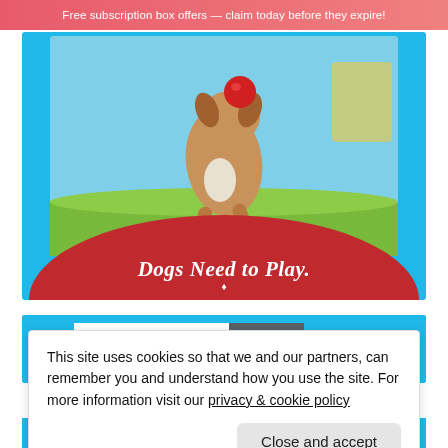Free subscription box offers — claim today before they expire!
[Figure (photo): A dog running on grass holding a red ball toy, with a red curved banner at the bottom reading 'Dogs Need to Play.']
[Figure (photo): A 2021 calendar product with '16 MONTH CALENDAR' label, September 2020 - December 2021]
This site uses cookies so that we and our partners, can remember you and understand how you use the site. For more information visit our privacy & cookie policy
Close and accept